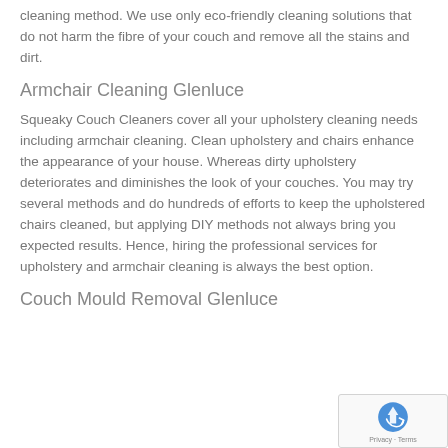cleaning method. We use only eco-friendly cleaning solutions that do not harm the fibre of your couch and remove all the stains and dirt.
Armchair Cleaning Glenluce
Squeaky Couch Cleaners cover all your upholstery cleaning needs including armchair cleaning. Clean upholstery and chairs enhance the appearance of your house. Whereas dirty upholstery deteriorates and diminishes the look of your couches. You may try several methods and do hundreds of efforts to keep the upholstered chairs cleaned, but applying DIY methods not always bring you expected results. Hence, hiring the professional services for upholstery and armchair cleaning is always the best option.
Couch Mould Removal Glenluce